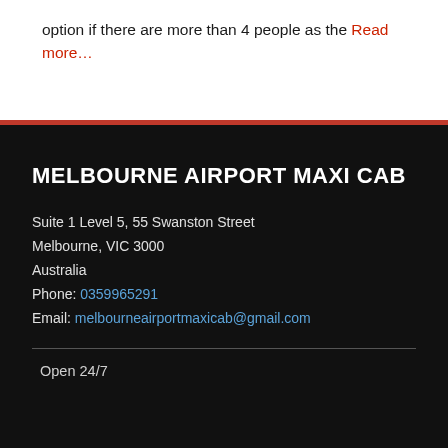option if there are more than 4 people as the Read more…
MELBOURNE AIRPORT MAXI CAB
Suite 1 Level 5, 55 Swanston Street
Melbourne, VIC 3000
Australia
Phone: 0359965291
Email: melbourneairportmaxicab@gmail.com
Open 24/7